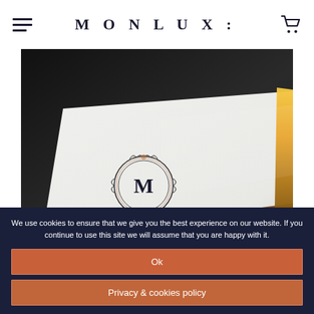MONLUX:
[Figure (photo): Close-up photo of a luxury white stationery or notebook with a decorative circular monogram 'M' emblem in dark ink and gold/copper accents, placed at an angle on a wooden surface with warm golden light on the right side and dark background at top.]
We use cookies to ensure that we give you the best experience on our website. If you continue to use this site we will assume that you are happy with it.
Ok
Privacy & cookies policy